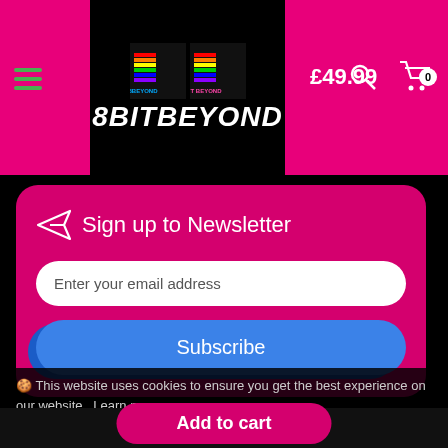[Figure (screenshot): 8BitBeyond e-commerce website header with logo, price £49.99, search icon, cart icon with badge 0, hamburger menu, on magenta/pink background]
Sign up to Newsletter
Enter your email address
Subscribe
🍪 This website uses cookies to ensure you get the best experience on our website.  Learn more
Got questions? Call / Whats app!
Submit
Add to cart